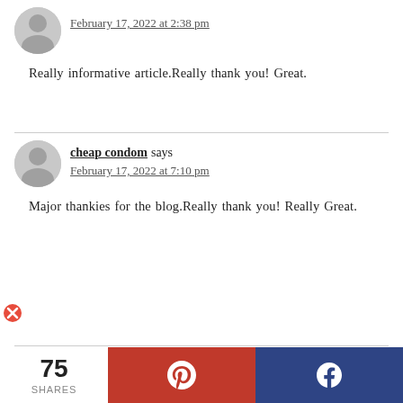February 17, 2022 at 2:38 pm
Really informative article.Really thank you! Great.
cheap condom says
February 17, 2022 at 7:10 pm
Major thankies for the blog.Really thank you! Really Great.
75 SHARES